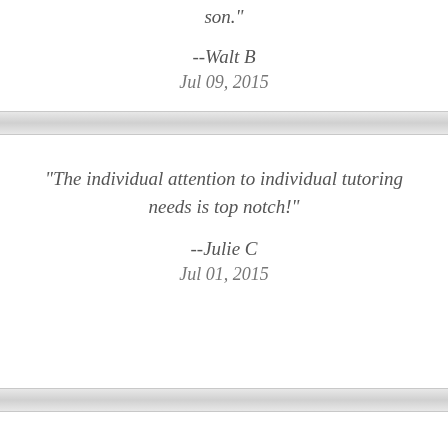son."
--Walt B
Jul 09, 2015
"The individual attention to individual tutoring needs is top notch!"
--Julie C
Jul 01, 2015